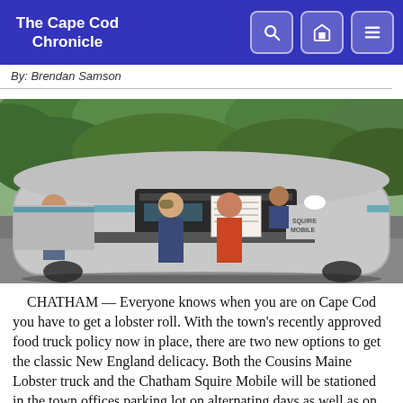The Cape Cod Chronicle
By: Brendan Samson
[Figure (photo): Two men standing in front of the Chatham Squire Mobile food truck, a vintage silver/chrome rounded trailer with teal accents. A seagull logo and 'SQUIRE MOBILE' text is visible on the side. A third person is visible inside the truck serving. Another person stands to the left taking a photo. Green trees are in the background.]
CHATHAM — Everyone knows when you are on Cape Cod you have to get a lobster roll. With the town's recently approved food truck policy now in place, there are two new options to get the classic New England delicacy. Both the Cousins Maine Lobster truck and the Chatham Squire Mobile will be stationed in the town offices parking lot on alternating days as well as on